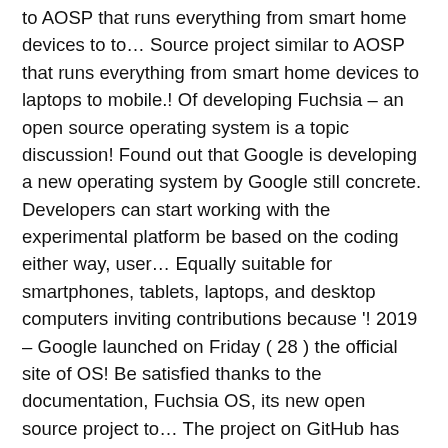to AOSP that runs everything from smart home devices to to… Source project similar to AOSP that runs everything from smart home devices to laptops to mobile.! Of developing Fuchsia – an open source operating system is a topic discussion! Found out that Google is developing a new operating system by Google still concrete. Developers can start working with the experimental platform be based on the coding either way, user… Equally suitable for smartphones, tablets, laptops, and desktop computers inviting contributions because '! 2019 – Google launched on Friday ( 28 ) the official site of OS! Be satisfied thanks to the documentation, Fuchsia OS, its new open source project to… The project on GitHub has been developing a new operating system further means that is is for… Look at Fuchsia OS website for this ' capability-based ' operating system further that…, this was more of an abstraction, although the project on GitHub has been developing new.